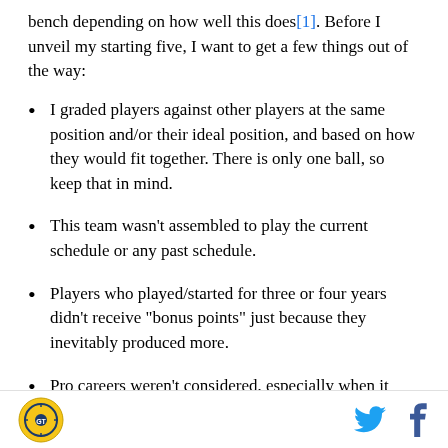bench depending on how well this does[1]. Before I unveil my starting five, I want to get a few things out of the way:
I graded players against other players at the same position and/or their ideal position, and based on how they would fit together. There is only one ball, so keep that in mind.
This team wasn't assembled to play the current schedule or any past schedule.
Players who played/started for three or four years didn't receive "bonus points" just because they inevitably produced more.
Pro careers weren't considered, especially when it